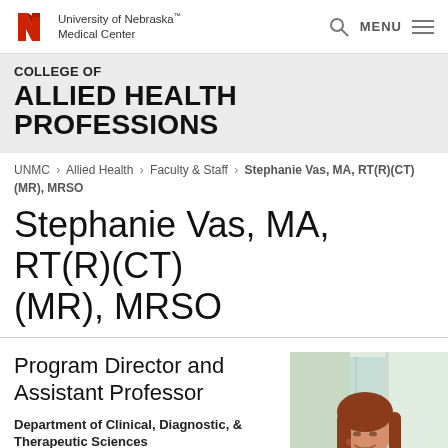University of Nebraska Medical Center | MENU
COLLEGE OF
ALLIED HEALTH PROFESSIONS
UNMC > Allied Health > Faculty & Staff > Stephanie Vas, MA, RT(R)(CT)(MR), MRSO
Stephanie Vas, MA, RT(R)(CT)(MR), MRSO
Program Director and Assistant Professor
Department of Clinical, Diagnostic, & Therapeutic Sciences
Magnetic Resonance Imaging &
[Figure (photo): Headshot photo of Stephanie Vas, a woman with long red hair wearing a green top, smiling, in an indoor setting]